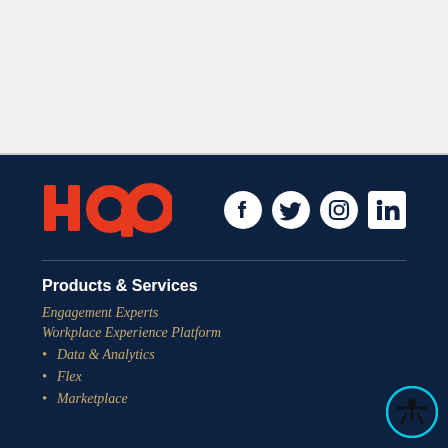[Figure (logo): HqO logo in red/orange lettering]
[Figure (other): Social media icons: Facebook, Twitter, Instagram, LinkedIn in white on dark navy background]
Products & Services
Engagement Experts
Workplace Experience Platform
Data & Analytics
Flex
Marketplace